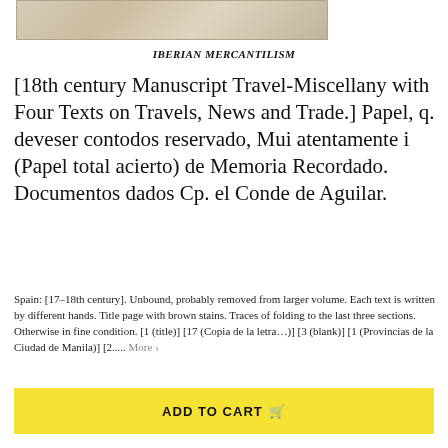[Figure (photo): Partial view of an aged manuscript or book cover with stone/parchment texture, brown and tan tones]
IBERIAN MERCANTILISM
[18th century Manuscript Travel-Miscellany with Four Texts on Travels, News and Trade.] Papel, q. deveser contodos reservado, Mui atentamente i (Papel total acierto) de Memoria Recordado. Documentos dados Cp. el Conde de Aguilar.
Spain: [17–18th century]. Unbound, probably removed from larger volume. Each text is written by different hands. Title page with brown stains. Traces of folding to the last three sections. Otherwise in fine condition. [1 (title)] [17 (Copia de la letra…)] [3 (blank)] [1 (Provincias de la Ciudad de Manila)] [2..... More ›